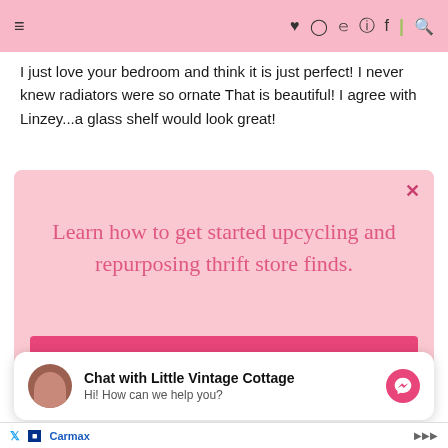Navigation header with hamburger menu and social icons (heart, Instagram, Twitter, Pinterest, Facebook, divider, search)
I just love your bedroom and think it is just perfect! I never knew radiators were so ornate That is beautiful! I agree with Linzey...a glass shelf would look great!
[Figure (infographic): Pink modal popup with close button (x), text 'Learn how to get started upcycling and repurposing thrift store finds.' and a pink button 'GET THE FREE GUIDE']
[Figure (infographic): Chat widget: 'Chat with Little Vintage Cottage — Hi! How can we help you?' with avatar and messenger icon]
Ad bar with X logo, Carmax advertisement, and other ad icons